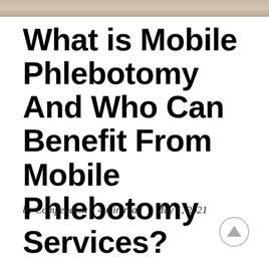[Figure (photo): Partial image strip at the top of the page, showing a blurred/cropped photograph]
What is Mobile Phlebotomy And Who Can Benefit From Mobile Phlebotomy Services?
by Compendent · 4 min read · May 1, 2021
[Figure (other): Circular scroll-to-top arrow button in bottom right corner]